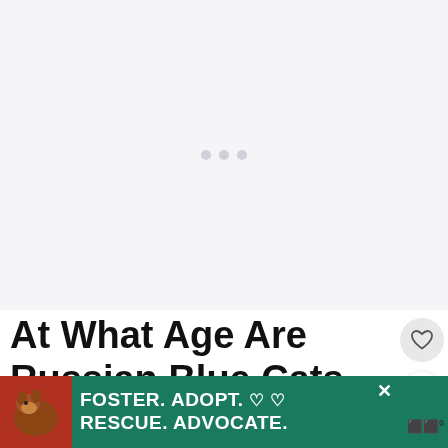[Figure (photo): Large image placeholder area with loading indicator (three dots), light gray background]
At What Age Are Russian Blue Cats Fully Grown?
According to experts like the Russian B...
[Figure (other): Advertisement banner: dog photo on left, teal background with white bold text FOSTER. ADOPT. ♡♡ / RESCUE. ADVOCATE. Close X button visible.]